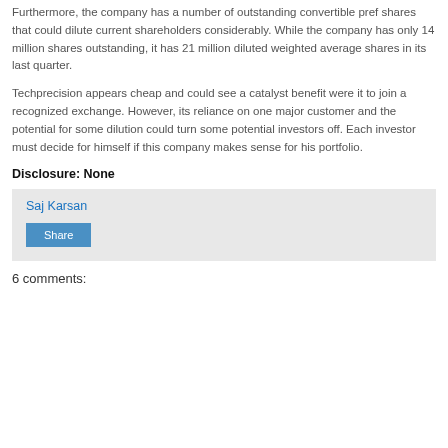Furthermore, the company has a number of outstanding convertible pref shares that could dilute current shareholders considerably. While the company has only 14 million shares outstanding, it has 21 million diluted weighted average shares in its last quarter.
Techprecision appears cheap and could see a catalyst benefit were it to join a recognized exchange. However, its reliance on one major customer and the potential for some dilution could turn some potential investors off. Each investor must decide for himself if this company makes sense for his portfolio.
Disclosure: None
Saj Karsan
Share
6 comments: